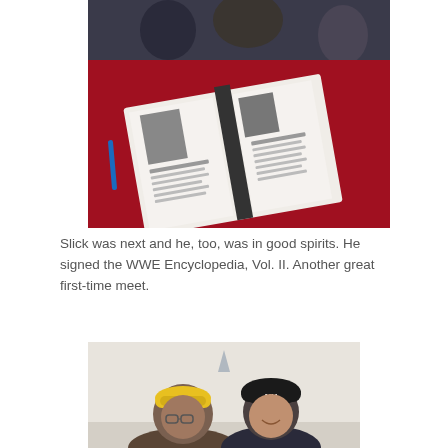[Figure (photo): Open WWE Encyclopedia Vol. II book on a red tablecloth with people seated around the table in background]
Slick was next and he, too, was in good spirits. He signed the WWE Encyclopedia, Vol. II. Another great first-time meet.
[Figure (photo): Two men posing together, one wearing a yellow cap and one wearing a black New York Yankees cap]